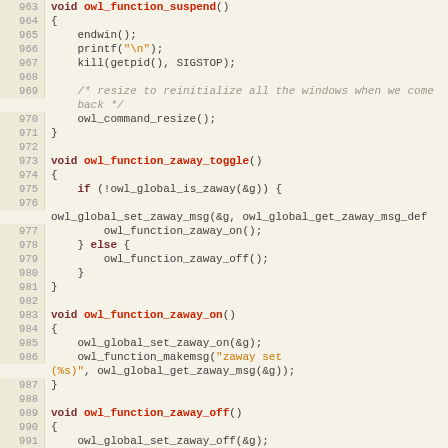[Figure (screenshot): Source code listing in C showing functions owl_function_suspend, owl_function_zaway_toggle, owl_function_zaway_on, and owl_function_zaway_off with line numbers 963-992]